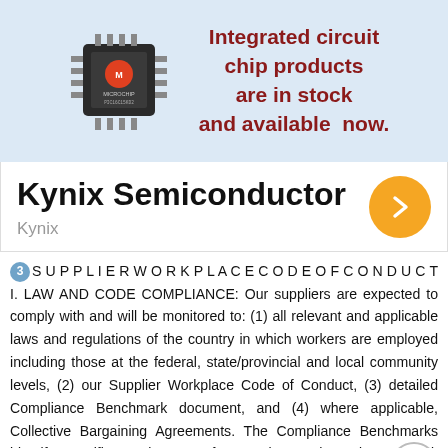[Figure (illustration): Advertisement banner with Microchip Technology integrated circuit chip image on blue background, with red bold text: 'Integrated circuit chip products are in stock and available now.']
Kynix Semiconductor
Kynix
3 SUPPLIERWORKPLACECODEOFCONDUCT I. LAW AND CODE COMPLIANCE: Our suppliers are expected to comply with and will be monitored to: (1) all relevant and applicable laws and regulations of the country in which workers are employed including those at the federal, state/provincial and local community levels, (2) our Supplier Workplace Code of Conduct, (3) detailed Compliance Benchmark document, and (4) where applicable, Collective Bargaining Agreements. The Compliance Benchmarks identify specific requirements for meeting each Code standard. When differences or conflicts